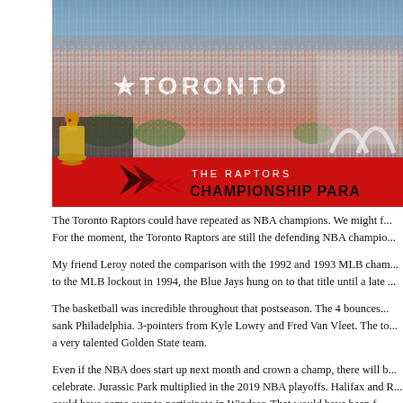[Figure (photo): Aerial photo of a massive crowd at the Toronto Raptors Championship Parade. The image shows thousands of people packed into the street with 'TORONTO' text visible and a red banner at the bottom reading 'THE RAPTORS CHAMPIONSHIP PARADE' with a Raptors logo and trophy.]
The Toronto Raptors could have repeated as NBA champions. We might f... For the moment, the Toronto Raptors are still the defending NBA champio...
My friend Leroy noted the comparison with the 1992 and 1993 MLB cham... to the MLB lockout in 1994, the Blue Jays hung on to that title until a late ...
The basketball was incredible throughout that postseason. The 4 bounces... sank Philadelphia. 3-pointers from Kyle Lowry and Fred Van Vleet. The to... a very talented Golden State team.
Even if the NBA does start up next month and crown a champ, there will b... celebrate. Jurassic Park multiplied in the 2019 NBA playoffs. Halifax and R... could have come over to participate in Windsor. That would have been f...